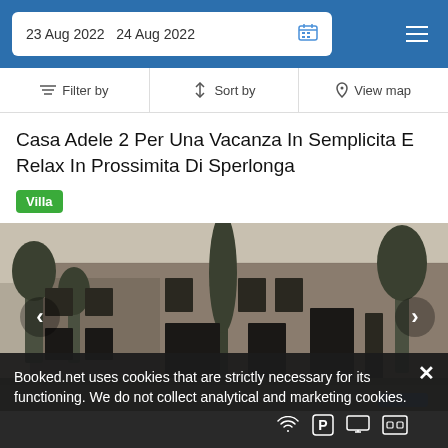23 Aug 2022   24 Aug 2022
Filter by   Sort by   View map
Casa Adele 2 Per Una Vacanza In Semplicita E Relax In Prossimita Di Sperlonga
Villa
[Figure (photo): Exterior photo of a stone villa with multiple windows, trees and courtyard, presented as a property listing image with left/right navigation arrows]
Booked.net uses cookies that are strictly necessary for its functioning. We do not collect analytical and marketing cookies.